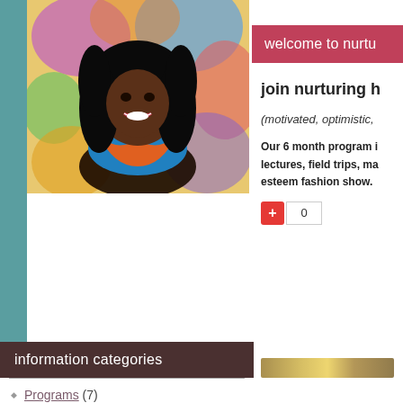[Figure (photo): Portrait photo of a smiling Black woman with long curly black hair, wearing colorful attire against a bright multicolored background]
welcome to nurtu
join nurturing h
(motivated, optimistic,
Our 6 month program i lectures, field trips, ma esteem fashion show.
0
information categories
Programs (7)
News (3)
Testimonials (6)